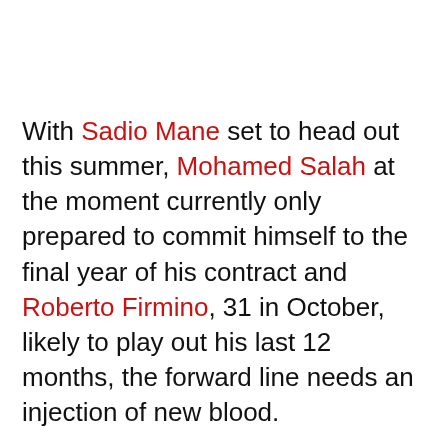With Sadio Mane set to head out this summer, Mohamed Salah at the moment currently only prepared to commit himself to the final year of his contract and Roberto Firmino, 31 in October, likely to play out his last 12 months, the forward line needs an injection of new blood.